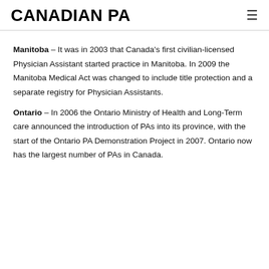CANADIAN PA
Manitoba – It was in 2003 that Canada's first civilian-licensed Physician Assistant started practice in Manitoba. In 2009 the Manitoba Medical Act was changed to include title protection and a separate registry for Physician Assistants.
Ontario – In 2006 the Ontario Ministry of Health and Long-Term care announced the introduction of PAs into its province, with the start of the Ontario PA Demonstration Project in 2007. Ontario now has the largest number of PAs in Canada.